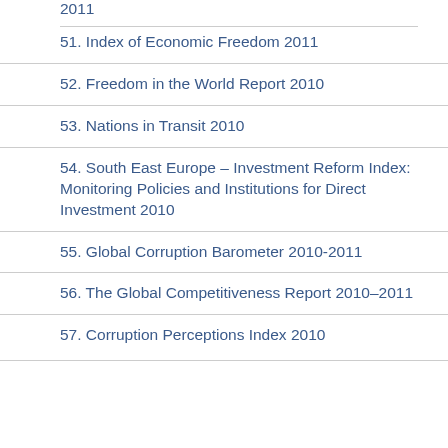51. Index of Economic Freedom 2011
52. Freedom in the World Report 2010
53. Nations in Transit 2010
54. South East Europe – Investment Reform Index: Monitoring Policies and Institutions for Direct Investment 2010
55. Global Corruption Barometer 2010-2011
56. The Global Competitiveness Report 2010–2011
57. Corruption Perceptions Index 2010